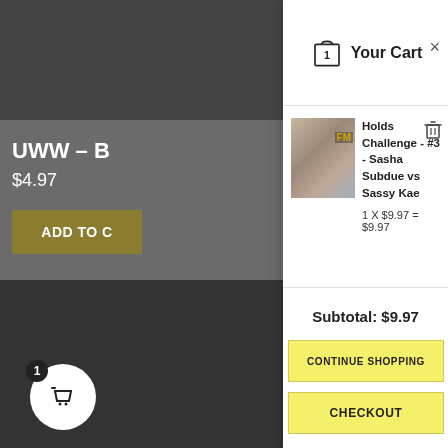[Figure (screenshot): E-commerce website product page background showing a product title 'UWW – B' and price '$4.97' with an 'ADD TO C' button, partially obscured by a cart overlay]
Your Cart
[Figure (photo): Thumbnail image of two female wrestlers posing]
Holds Challenge - #3 - Sasha Subdue vs Sassy Kae
1 X $9.97 = $9.97
Subtotal: $9.97
CONTINUE SHOPPING
CHECKOUT